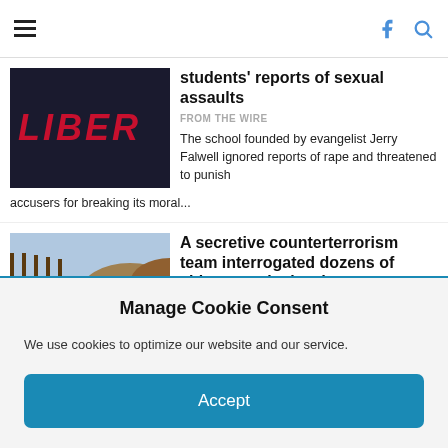students' reports of sexual assaults
FROM THE WIRE
The school founded by evangelist Jerry Falwell ignored reports of rape and threatened to punish accusers for breaking its moral...
A secretive counterterrorism team interrogated dozens of citizens at the border
FROM THE WIRE
Government Report A report by a federal watchdog shows how the Trump administration flagged at least 51 citizens for interrogation...
Manage Cookie Consent
We use cookies to optimize our website and our service.
Accept